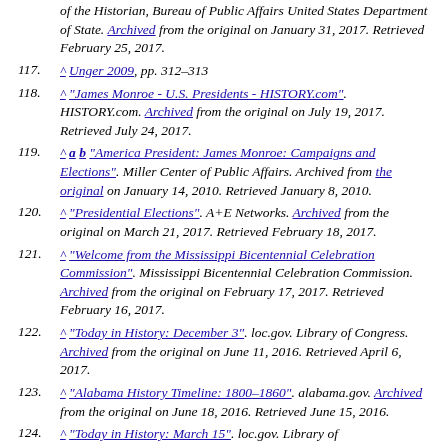(continuation) of the Historian, Bureau of Public Affairs United States Department of State. Archived from the original on January 31, 2017. Retrieved February 25, 2017.
117. ^ Unger 2009, pp. 312–313
118. ^ "James Monroe - U.S. Presidents - HISTORY.com". HISTORY.com. Archived from the original on July 19, 2017. Retrieved July 24, 2017.
119. ^ a b "America President: James Monroe: Campaigns and Elections". Miller Center of Public Affairs. Archived from the original on January 14, 2010. Retrieved January 8, 2010.
120. ^ "Presidential Elections". A+E Networks. Archived from the original on March 21, 2017. Retrieved February 18, 2017.
121. ^ "Welcome from the Mississippi Bicentennial Celebration Commission". Mississippi Bicentennial Celebration Commission. Archived from the original on February 17, 2017. Retrieved February 16, 2017.
122. ^ "Today in History: December 3". loc.gov. Library of Congress. Archived from the original on June 11, 2016. Retrieved April 6, 2017.
123. ^ "Alabama History Timeline: 1800–1860". alabama.gov. Archived from the original on June 18, 2016. Retrieved June 15, 2016.
124. ^ "Today in History: March 15". loc.gov. Library of